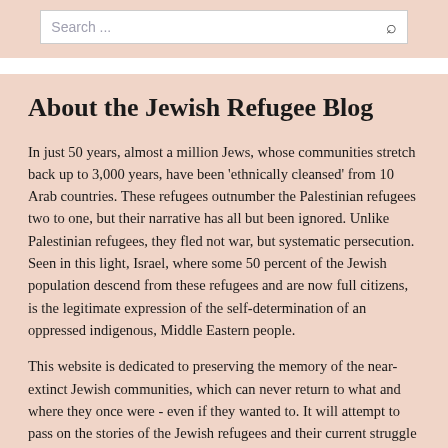Search ...
About the Jewish Refugee Blog
In just 50 years, almost a million Jews, whose communities stretch back up to 3,000 years, have been 'ethnically cleansed' from 10 Arab countries. These refugees outnumber the Palestinian refugees two to one, but their narrative has all but been ignored. Unlike Palestinian refugees, they fled not war, but systematic persecution. Seen in this light, Israel, where some 50 percent of the Jewish population descend from these refugees and are now full citizens, is the legitimate expression of the self-determination of an oppressed indigenous, Middle Eastern people.
This website is dedicated to preserving the memory of the near-extinct Jewish communities, which can never return to what and where they once were - even if they wanted to. It will attempt to pass on the stories of the Jewish refugees and their current struggle for recognition and restitution. Awareness of the injustice